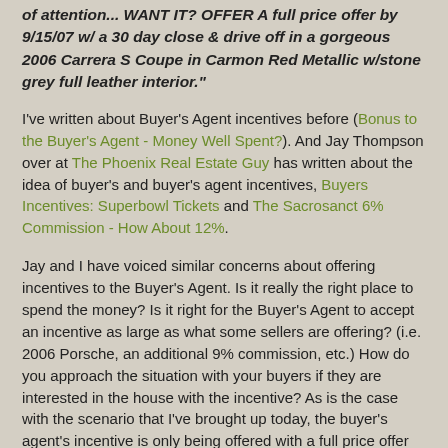of attention... WANT IT? OFFER A full price offer by 9/15/07 w/ a 30 day close & drive off in a gorgeous 2006 Carrera S Coupe in Carmon Red Metallic w/stone grey full leather interior."
I've written about Buyer's Agent incentives before (Bonus to the Buyer's Agent - Money Well Spent?).  And Jay Thompson over at The Phoenix Real Estate Guy has written about the idea of buyer's and buyer's agent incentives, Buyers Incentives:  Superbowl Tickets and The Sacrosanct 6% Commission - How About 12%.
Jay and I have voiced similar concerns about offering incentives to the Buyer's Agent.  Is it really the right place to spend the money?  Is it right for the Buyer's Agent to accept an incentive as large as what some sellers are offering? (i.e. 2006 Porsche, an additional 9% commission, etc.)  How do you approach the situation with your buyers if they are interested in the house with the incentive?  As is the case with the scenario that I've brought up today, the buyer's agent's incentive is only being offered with a full price offer and a 30 day closing.  In this situation in order for the buyer's agent to earn the incentive, he/she could quite